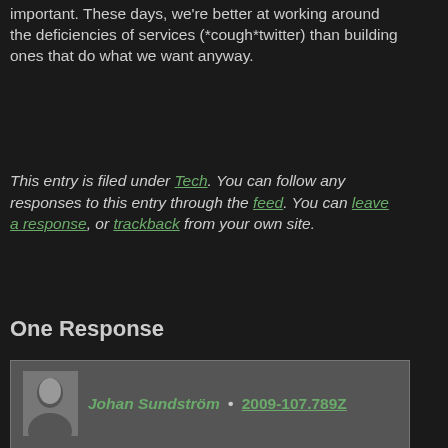important. These days, we're better at working around the deficiencies of services (*cough*twitter) than building ones that do what we want anyway.
This entry is filed under Tech. You can follow any responses to this entry through the feed. You can leave a response, or trackback from your own site.
One Response
Johan Sundström • 2009-107.789Z
Once past the initial question ("does it work?"), the next step tends to be "is it hackable?" — often phrased as "does it yield sought output/effects in good proportion to my effort put in?".
From there, myriads of paths (many futile) go on in the interfacing between different people of different preferences, knowledge, capacity, experience, sensibility, and so on.